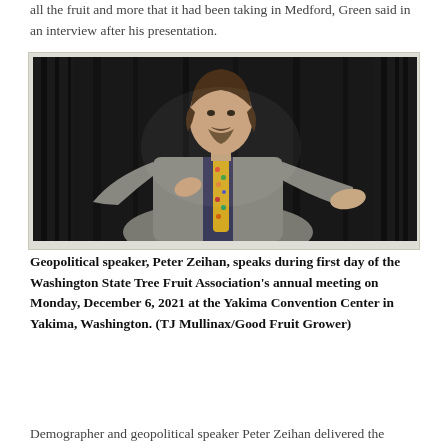all the fruit and more that it had been taking in Medford, Green said in an interview after his presentation.
[Figure (photo): Geopolitical speaker Peter Zeihan speaking on stage in front of dark curtain backdrop, wearing a gray suit with a colorful floral tie, gesturing with his hands during a presentation.]
Geopolitical speaker, Peter Zeihan, speaks during first day of the Washington State Tree Fruit Association's annual meeting on Monday, December 6, 2021 at the Yakima Convention Center in Yakima, Washington. (TJ Mullinax/Good Fruit Grower)
Demographer and geopolitical speaker Peter Zeihan delivered the